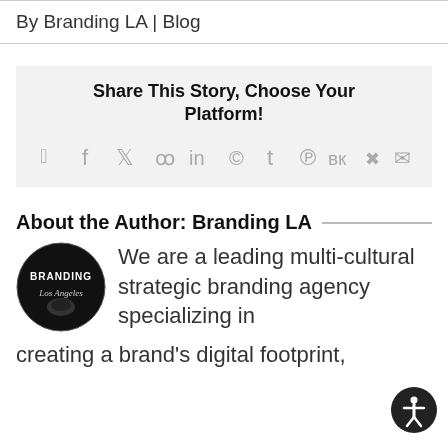By Branding LA | Blog
Share This Story, Choose Your Platform!
[Figure (infographic): Social media share icons: Facebook, Twitter, Reddit, LinkedIn, WhatsApp, Tumblr, Pinterest, VK, Xing, Email]
About the Author: Branding LA
[Figure (logo): Branding LA circular logo — black circle with white text BRANDING and script Los Angeles]
We are a leading multi-cultural strategic branding agency specializing in creating a brand's digital footprint,